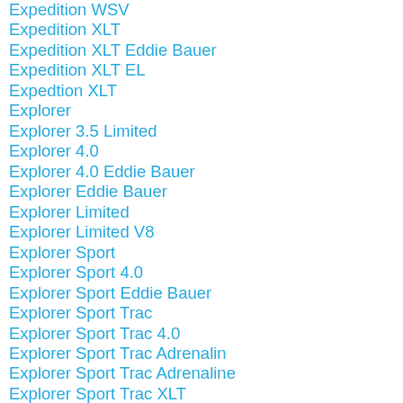Expedition WSV
Expedition XLT
Expedition XLT Eddie Bauer
Expedition XLT EL
Expedtion XLT
Explorer
Explorer 3.5 Limited
Explorer 4.0
Explorer 4.0 Eddie Bauer
Explorer Eddie Bauer
Explorer Limited
Explorer Limited V8
Explorer Sport
Explorer Sport 4.0
Explorer Sport Eddie Bauer
Explorer Sport Trac
Explorer Sport Trac 4.0
Explorer Sport Trac Adrenalin
Explorer Sport Trac Adrenaline
Explorer Sport Trac XLT
Explorer Sport Trac XLT 4x4
Explorer Sport XLS
Explorer Sport XLT
Explorer Trac
Explorer Xl